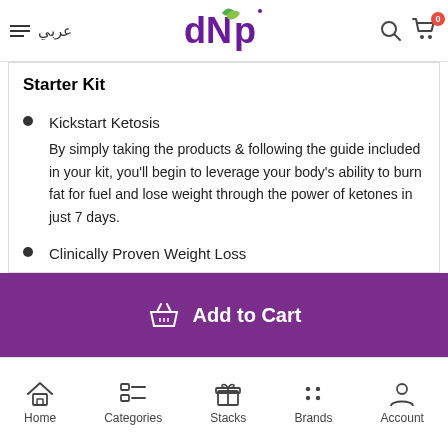عربي | DNP logo | search | cart (0)
Starter Kit
Kickstart Ketosis
By simply taking the products & following the guide included in your kit, you'll begin to leverage your body's ability to burn fat for fuel and lose weight through the power of ketones in just 7 days.
Clinically Proven Weight Loss
Add to Cart
Home | Categories | Stacks | Brands | Account